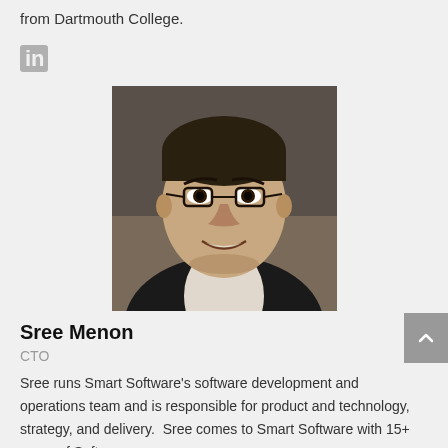from Dartmouth College.
[Figure (logo): LinkedIn logo icon in gray]
[Figure (photo): Black and white headshot photo of Sree Menon, a man wearing glasses and a dark suit, smiling]
Sree Menon
CTO
Sree runs Smart Software's software development and operations team and is responsible for product and technology, strategy, and delivery.  Sree comes to Smart Software with 15+ years of Software